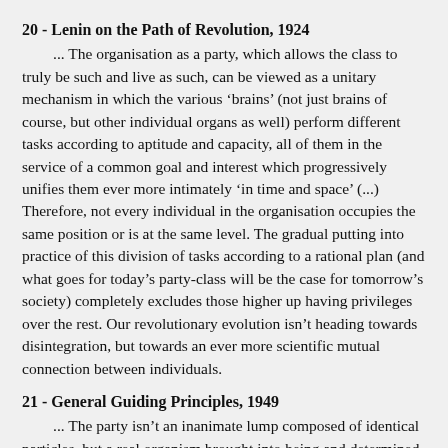20 - Lenin on the Path of Revolution, 1924
... The organisation as a party, which allows the class to truly be such and live as such, can be viewed as a unitary mechanism in which the various ‘brains’ (not just brains of course, but other individual organs as well) perform different tasks according to aptitude and capacity, all of them in the service of a common goal and interest which progressively unifies them ever more intimately ‘in time and space’ (...) Therefore, not every individual in the organisation occupies the same position or is at the same level. The gradual putting into practice of this division of tasks according to a rational plan (and what goes for today’s party-class will be the case for tomorrow’s society) completely excludes those higher up having privileges over the rest. Our revolutionary evolution isn’t heading towards disintegration, but towards an ever more scientific mutual connection between individuals.
21 - General Guiding Principles, 1949
... The party isn’t an inanimate lump composed of identical particles, but a real organism brought into being and determined by social and historical